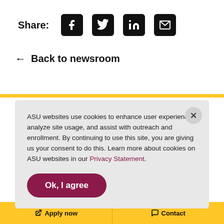Share: [Facebook] [Twitter] [LinkedIn] [Email]
← Back to newsroom
ASU websites use cookies to enhance user experience, analyze site usage, and assist with outreach and enrollment. By continuing to use this site, you are giving us your consent to do this. Learn more about cookies on ASU websites in our Privacy Statement.
Ok, I agree
Apply now   Contact